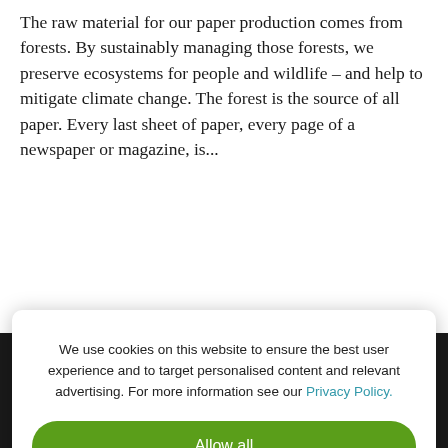The raw material for our paper production comes from forests. By sustainably managing those forests, we preserve ecosystems for people and wildlife – and help to mitigate climate change. The forest is the source of all paper. Every last sheet of paper, every page of a newspaper or magazine, is...
We use cookies on this website to ensure the best user experience and to target personalised content and relevant advertising. For more information see our Privacy Policy.
Allow all
Use only necessary cookies
About us